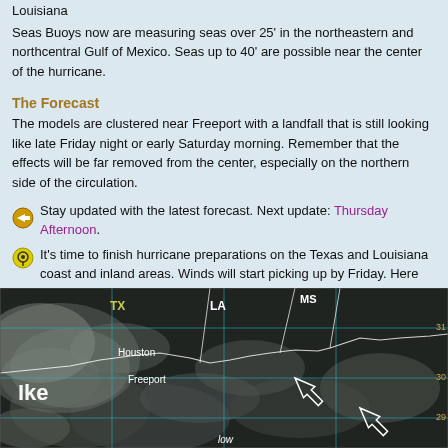Louisiana
Seas Buoys now are measuring seas over 25' in the northeastern and northcentral Gulf of Mexico. Seas up to 40' are possible near the center of the hurricane.
The Forecast
The models are clustered near Freeport with a landfall that is still looking like late Friday night or early Saturday morning. Remember that the effects will be far removed from the center, especially on the northern side of the circulation.
Stay updated with the latest forecast. Next update: Thursday Afternoon.
It's time to finish hurricane preparations on the Texas and Louisiana coast and inland areas. Winds will start picking up by Friday. Here are some ideas: http://www.tropicalweather.net/plan.htm
[Figure (map): Satellite image map showing Hurricane Ike approaching the Texas/Louisiana coast. Labels visible: TX, LA, MS, Houston, Freeport, low. Arrows pointing toward the storm center. State boundaries shown in white/cyan overlay.]